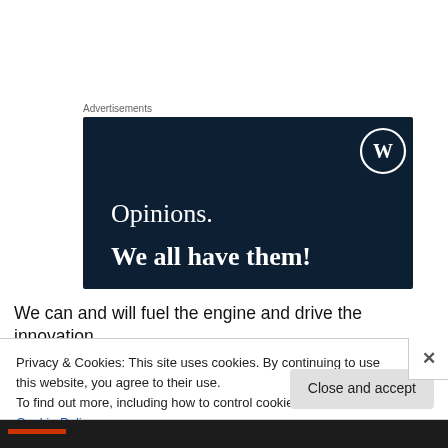Advertisements
[Figure (illustration): WordPress advertisement banner with dark navy background. Shows WordPress logo (circle W) in top right. Text reads 'Opinions.' in serif font, then 'We all have them!' in bold serif font. Background color is dark navy #0d1f33.]
We can and will fuel the engine and drive the innovation
Privacy & Cookies: This site uses cookies. By continuing to use this website, you agree to their use.
To find out more, including how to control cookies, see here: Cookie Policy
Close and accept